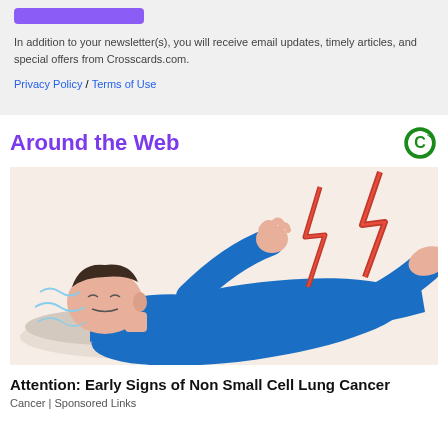In addition to your newsletter(s), you will receive email updates, timely articles, and special offers from Crosscards.com.
Privacy Policy / Terms of Use
Around the Web
[Figure (illustration): Illustration of a person in blue clothing lying down in pain with red lightning bolt symbols indicating pain]
Attention: Early Signs of Non Small Cell Lung Cancer
Cancer | Sponsored Links